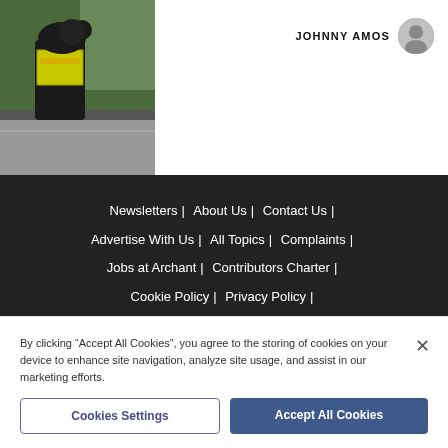[Figure (photo): Person in high-visibility yellow jacket holding a black dog, standing on a road.]
JOHNNY AMOS
Newsletters | About Us | Contact Us | Advertise With Us | All Topics | Complaints | Jobs at Archant | Contributors Charter | Cookie Policy | Privacy Policy | Terms & Conditions | Archant | Manage Cookies
By clicking “Accept All Cookies”, you agree to the storing of cookies on your device to enhance site navigation, analyze site usage, and assist in our marketing efforts.
Cookies Settings
Accept All Cookies